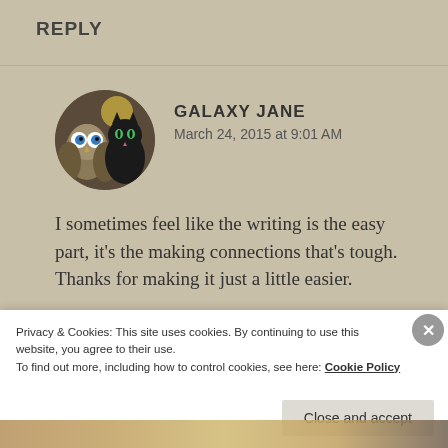REPLY
[Figure (photo): Circular avatar image showing an owl and a black cat side by side against a dark background]
GALAXY JANE
March 24, 2015 at 9:01 AM
I sometimes feel like the writing is the easy part, it’s the making connections that’s tough. Thanks for making it just a little easier.
★ Like
Privacy & Cookies: This site uses cookies. By continuing to use this website, you agree to their use.
To find out more, including how to control cookies, see here: Cookie Policy
Close and accept